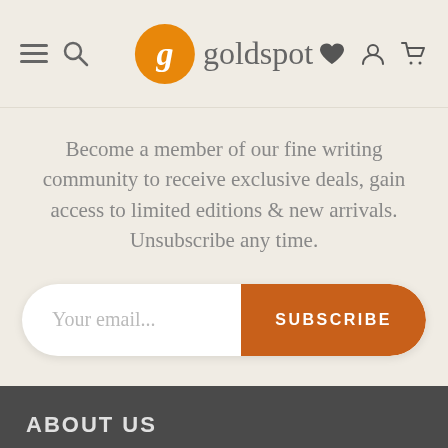goldspot navigation header with menu, search, logo, wishlist, account, and cart icons
Become a member of our fine writing community to receive exclusive deals, gain access to limited editions & new arrivals. Unsubscribe any time.
[Figure (screenshot): Email subscription bar with 'Your email...' placeholder text and an orange SUBSCRIBE button]
ABOUT US
Our Story
Meet the Team
[Figure (other): White pill-shaped REWARDS button with an orange circle icon showing a gift/cake symbol]